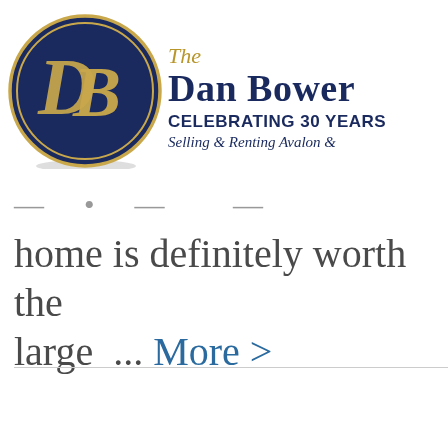[Figure (logo): The Dan Bower real estate logo: dark navy blue circle with gold 'DB' monogram initials in script, with double gold ring border]
The Dan Bower — CELEBRATING 30 YEARS Selling & Renting Avalon &
home is definitely worth the large ... More >